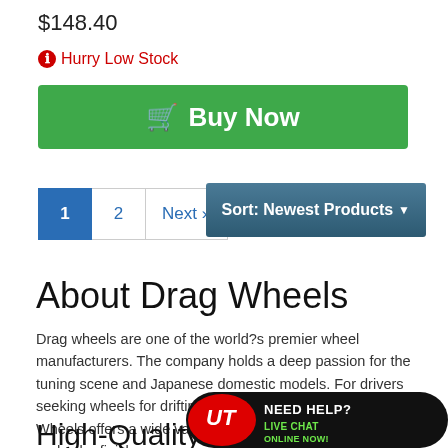$148.40
Hurry Low Stock
Buy Now
1  2  Next »
Sort: Newest Products
About Drag Wheels
Drag wheels are one of the world?s premier wheel manufacturers. The company holds a deep passion for the tuning scene and Japanese domestic models. For drivers seeking wheels for drifting, drag, or street application, Drag Wheels offers a wide variety of performance wheel options and color finishes
High-Quality an...
[Figure (infographic): Live chat banner with logo and text 'NEED HELP? LIVE CHAT ONLINE NOW!']